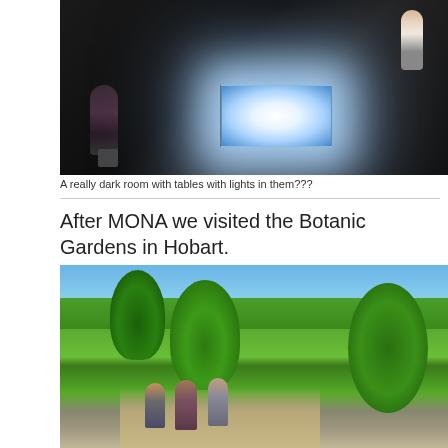[Figure (photo): A dark room with two people and illuminated light tables/boxes with bright white-blue light glowing from them, set against a very dark background.]
A really dark room with tables with lights in them???
After MONA we visited the Botanic Gardens in Hobart.
[Figure (photo): Outdoor photo of people walking through lush green Botanic Gardens in Hobart on a sunny day with blue sky, large green trees, and a garden path. Three people are visible in the foreground.]